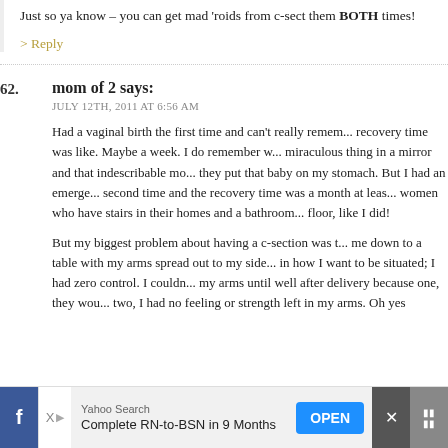Just so ya know – you can get mad 'roids from c-sect them BOTH times!
> Reply
62. mom of 2 says:
JULY 12TH, 2011 AT 6:56 AM
Had a vaginal birth the first time and can't really remember what the recovery time was like. Maybe a week. I do remember watching that miraculous thing in a mirror and that indescribable moment when they put that baby on my stomach. But I had an emergency c-section the second time and the recovery time was a month at least. I pity the women who have stairs in their homes and a bathroom not on the main floor, like I did!
But my biggest problem about having a c-section was that they strapped me down to a table with my arms spread out to my sides. I had no say in how I want to be situated; I had zero control. I couldn't even move my arms until well after delivery because one, they would and two, I had no feeling or strength left in my arms. Oh yes
Yahoo Search
Complete RN-to-BSN in 9 Months